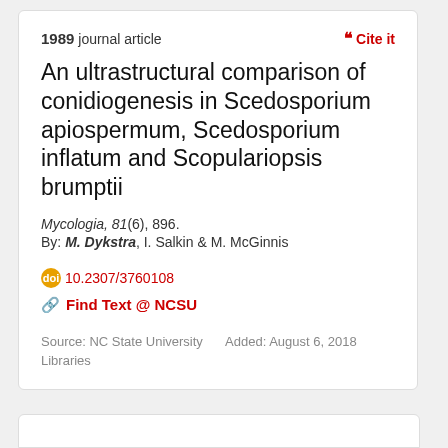1989 journal article
« Cite it
An ultrastructural comparison of conidiogenesis in Scedosporium apiospermum, Scedosporium inflatum and Scopulariopsis brumptii
Mycologia, 81(6), 896.
By: M. Dykstra, I. Salkin & M. McGinnis
10.2307/3760108
Find Text @ NCSU
Source: NC State University Libraries
Added: August 6, 2018